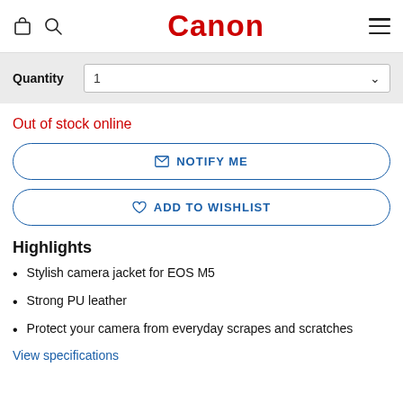Canon
Quantity 1
Out of stock online
NOTIFY ME
ADD TO WISHLIST
Highlights
Stylish camera jacket for EOS M5
Strong PU leather
Protect your camera from everyday scrapes and scratches
View specifications